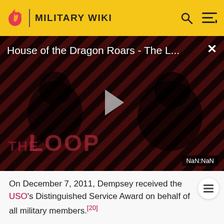MILITARY WIKI
[Figure (screenshot): Video player showing 'House of the Dragon Roars - The L...' with a play button overlay, diagonal red and black stripes background, silhouettes of two people, 'THE LOOP' text watermark, and NaN:NaN timer. Close button (×) in top right.]
On December 7, 2011, Dempsey received the USO's Distinguished Service Award on behalf of all military members.[20]
Medals and ribbons